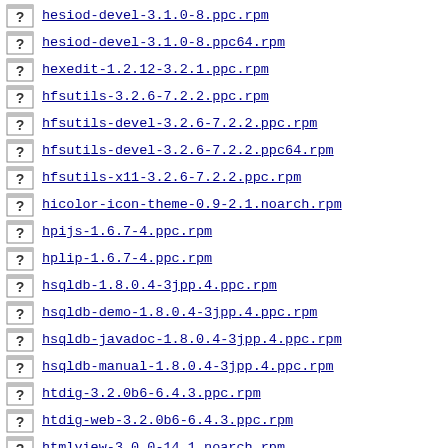hesiod-devel-3.1.0-8.ppc.rpm
hesiod-devel-3.1.0-8.ppc64.rpm
hexedit-1.2.12-3.2.1.ppc.rpm
hfsutils-3.2.6-7.2.2.ppc.rpm
hfsutils-devel-3.2.6-7.2.2.ppc.rpm
hfsutils-devel-3.2.6-7.2.2.ppc64.rpm
hfsutils-x11-3.2.6-7.2.2.ppc.rpm
hicolor-icon-theme-0.9-2.1.noarch.rpm
hpijs-1.6.7-4.ppc.rpm
hplip-1.6.7-4.ppc.rpm
hsqldb-1.8.0.4-3jpp.4.ppc.rpm
hsqldb-demo-1.8.0.4-3jpp.4.ppc.rpm
hsqldb-javadoc-1.8.0.4-3jpp.4.ppc.rpm
hsqldb-manual-1.8.0.4-3jpp.4.ppc.rpm
htdig-3.2.0b6-6.4.3.ppc.rpm
htdig-web-3.2.0b6-6.4.3.ppc.rpm
htmlview-3.0.0-14.1.noarch.rpm